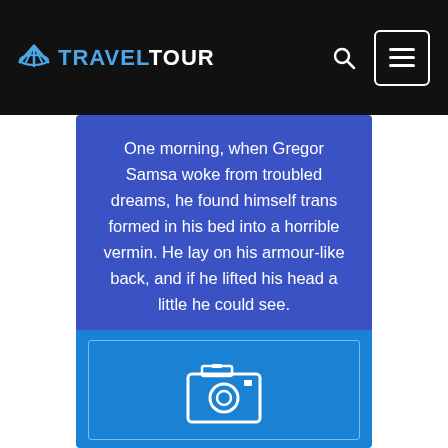TRAVELTOUR
One morning, when Gregor Samsa woke from troubled dreams, he found himself trans formed in his bed into a horrible vermin. He lay on his armour-like back, and if he lifted his head a little he could see.
[Figure (photo): Image placeholder box with camera icon, bright blue background with border]